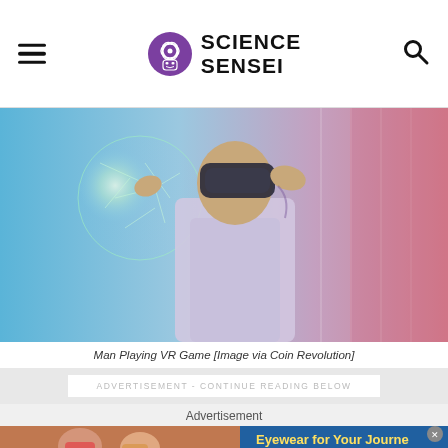Science Sensei
[Figure (photo): Man wearing VR headset touching a glowing virtual globe with one hand, colorful neon lighting, wearing white shirt]
Man Playing VR Game [Image via Coin Revolution]
ADVERTISEMENT - CONTINUE READING BELOW
Advertisement
[Figure (photo): Advertisement banner showing two women wearing sunglasses with text 'Eyewear for Your Journey, TIMELESS STYLES, UNMATCHED QUALITY, SHOP NOW']